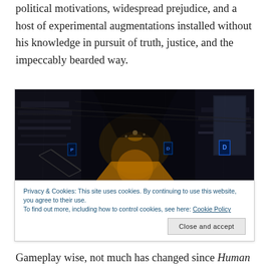political motivations, widespread prejudice, and a host of experimental augmentations installed without his knowledge in pursuit of truth, justice, and the impeccably bearded way.
[Figure (photo): Dark cyberpunk city alleyway at night with orange glowing street and blue neon signs, wet surfaces reflecting light]
Privacy & Cookies: This site uses cookies. By continuing to use this website, you agree to their use. To find out more, including how to control cookies, see here: Cookie Policy
Gameplay wise, not much has changed since Human